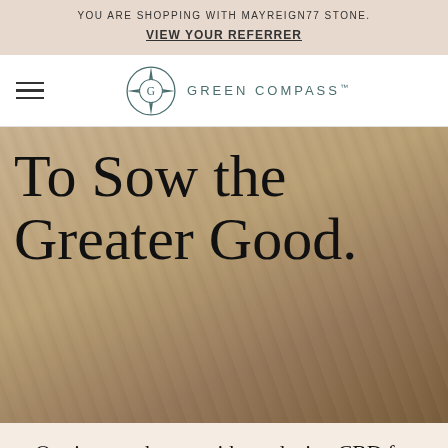YOU ARE SHOPPING WITH MAYREIGN77 STONE. VIEW YOUR REFERRER
[Figure (logo): Green Compass logo with compass rose icon and text GREEN COMPASS]
To Sow the Greater Good.
Our journey began with producing CBD for those who matter the most — our own families. We have